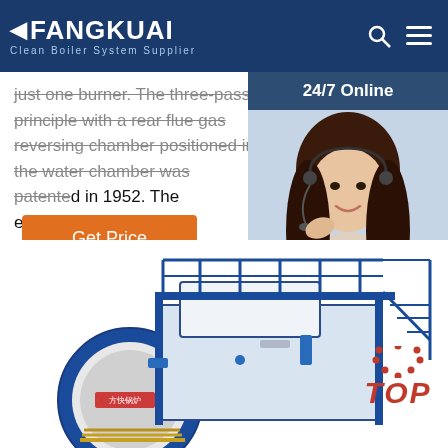FANGKUAI Clean Boiler System Supplier
just one burner. The three-pass principle with a rear flue gas reversing chamber positioned in the water chamber was patented in 1952. The economizer ...
Get Price
[Figure (photo): Customer service representative wearing headset, smiling. Sidebar with '24/7 Online' header, 'Click here for free chat!' text, and 'QUOTATION' button.]
[Figure (photo): Industrial boiler system in blue and white with walkway and railings. Red 'TOP' badge with dotted arc in bottom right.]